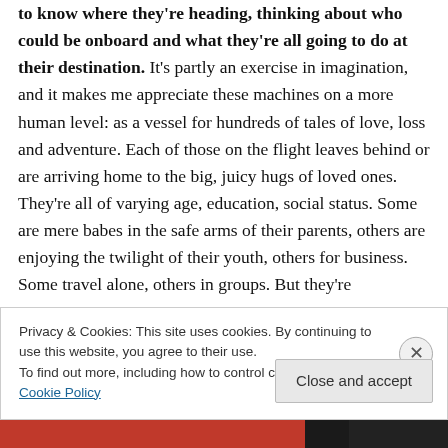to know where they're heading, thinking about who could be onboard and what they're all going to do at their destination. It's partly an exercise in imagination, and it makes me appreciate these machines on a more human level: as a vessel for hundreds of tales of love, loss and adventure. Each of those on the flight leaves behind or are arriving home to the big, juicy hugs of loved ones. They're all of varying age, education, social status. Some are mere babes in the safe arms of their parents, others are enjoying the twilight of their youth, others for business. Some travel alone, others in groups. But they're
Privacy & Cookies: This site uses cookies. By continuing to use this website, you agree to their use.
To find out more, including how to control cookies, see here: Cookie Policy
Close and accept